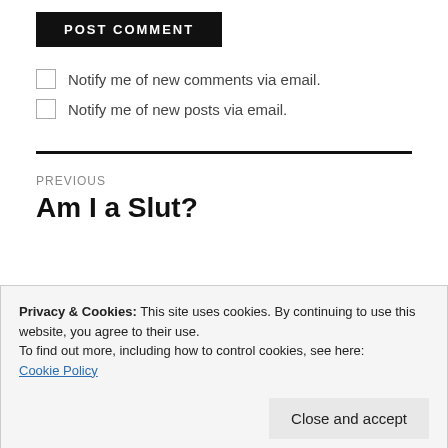POST COMMENT
Notify me of new comments via email.
Notify me of new posts via email.
PREVIOUS
Am I a Slut?
Privacy & Cookies: This site uses cookies. By continuing to use this website, you agree to their use.
To find out more, including how to control cookies, see here:
Cookie Policy
Close and accept